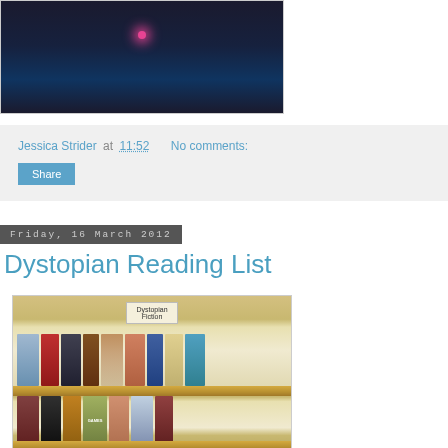[Figure (photo): Dark image with pink/magenta light burst, appears to be a photo or video still with dark background]
Jessica Strider at 11:52   No comments:
Share
Friday, 16 March 2012
Dystopian Reading List
[Figure (photo): Photo of a bookstore shelf labeled 'Dystopian Fiction' with two rows of colorful book covers on yellow shelves]